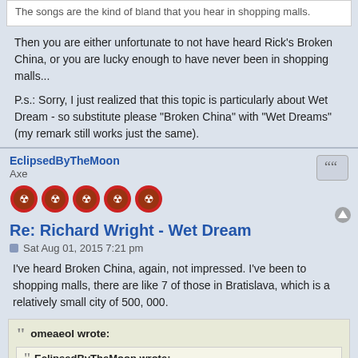The songs are the kind of bland that you hear in shopping malls.
Then you are either unfortunate to not have heard Rick's Broken China, or you are lucky enough to have never been in shopping malls...
P.s.: Sorry, I just realized that this topic is particularly about Wet Dream - so substitute please "Broken China" with "Wet Dreams" (my remark still works just the same).
EclipsedByTheMoon
Axe
Re: Richard Wright - Wet Dream
Sat Aug 01, 2015 7:21 pm
I've heard Broken China, again, not impressed. I've been to shopping malls, there are like 7 of those in Bratislava, which is a relatively small city of 500, 000.
omeaeol wrote:
EclipsedByTheMoon wrote:
The songs are the kind of bland that you hear in shopping malls.
Then you are either unfortunate to not have heard Rick's Broken